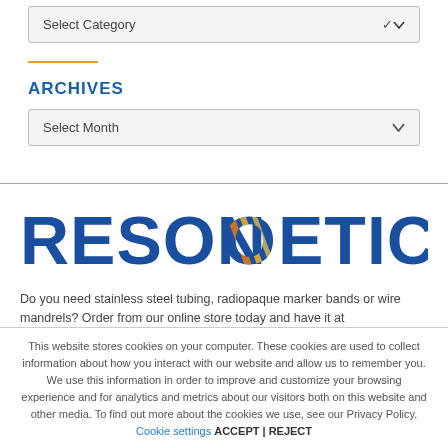[Figure (screenshot): Select Category dropdown box (gray, with chevron)]
ARCHIVES
[Figure (screenshot): Select Month dropdown box (gray, with chevron)]
[Figure (logo): Resonetics logo — large bold blue text with orange/yellow diagonal stripes on the letter O]
Do you need stainless steel tubing, radiopaque marker bands or wire mandrels? Order from our online store today and have it at
This website stores cookies on your computer. These cookies are used to collect information about how you interact with our website and allow us to remember you. We use this information in order to improve and customize your browsing experience and for analytics and metrics about our visitors both on this website and other media. To find out more about the cookies we use, see our Privacy Policy. Cookie settings ACCEPT | REJECT